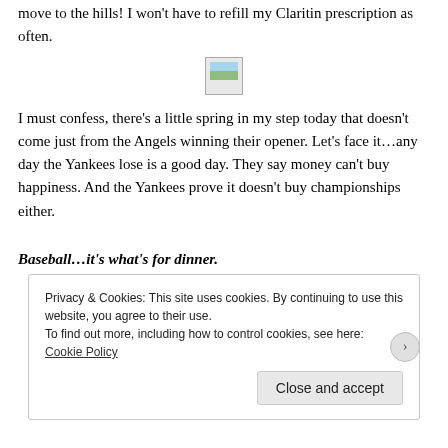move to the hills! I won't have to refill my Claritin prescription as often.
[Figure (photo): Small image placeholder with landscape thumbnail]
I must confess, there's a little spring in my step today that doesn't come just from the Angels winning their opener.  Let's face it…any day the Yankees lose is a good day.  They say money can't buy happiness.  And the Yankees prove it doesn't buy championships either.
Baseball…it's what's for dinner.
Privacy & Cookies: This site uses cookies. By continuing to use this website, you agree to their use.
To find out more, including how to control cookies, see here: Cookie Policy